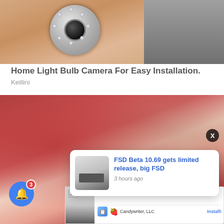[Figure (photo): Hand holding a small round white security camera with circular LED ring around lens, with white boxes in background]
Home Light Bulb Camera For Easy Installation.
Keillini
[Figure (photo): Person handling raw red meat/beef on a counter, hands visible including one with a black bracelet]
[Figure (screenshot): News notification popup: 'FSD Beta 10.69 gets limited release, big FSD' - 3 hours ago, with thumbnail image]
[Figure (screenshot): Ad banner at bottom: Ad label, app image, Candywriter LLC with strawberry emoji icon, Install button]